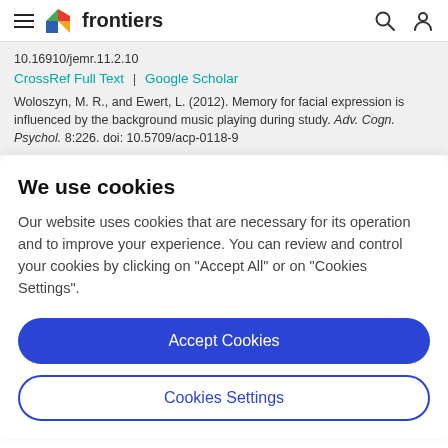frontiers
10.16910/jemr.11.2.10
CrossRef Full Text | Google Scholar
Woloszyn, M. R., and Ewert, L. (2012). Memory for facial expression is influenced by the background music playing during study. Adv. Cogn. Psychol. 8:226. doi: 10.5709/acp-0118-9
We use cookies
Our website uses cookies that are necessary for its operation and to improve your experience. You can review and control your cookies by clicking on "Accept All" or on "Cookies Settings".
Accept Cookies
Cookies Settings